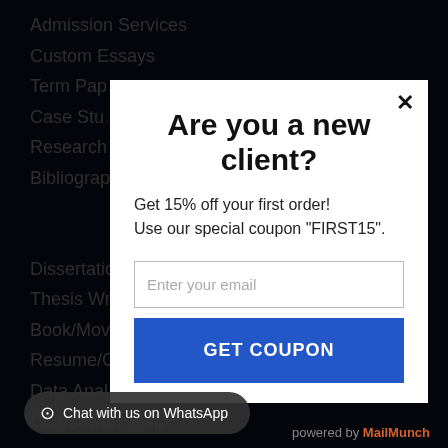Admission Services
Custom Essays
Term Pap…
Case Stu…
Research…
Bibliograp…
Dissertatio…
Thesis Wr…
Book/Mov…
Resume/C…
Data Anal…
Coursework Help
Are you a new client?
Get 15% off your first order! Use our special coupon "FIRST15".
Enter your email
GET COUPON
✕
powered by MailMunch
Chat with us on WhatsApp